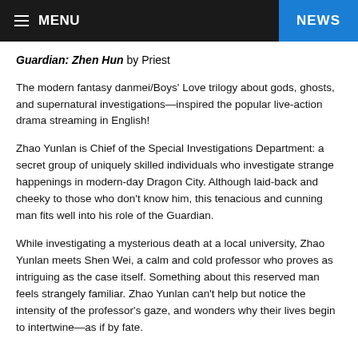MENU | NEWS
Guardian: Zhen Hun by Priest
The modern fantasy danmei/Boys' Love trilogy about gods, ghosts, and supernatural investigations—inspired the popular live-action drama streaming in English!
Zhao Yunlan is Chief of the Special Investigations Department: a secret group of uniquely skilled individuals who investigate strange happenings in modern-day Dragon City. Although laid-back and cheeky to those who don't know him, this tenacious and cunning man fits well into his role of the Guardian.
While investigating a mysterious death at a local university, Zhao Yunlan meets Shen Wei, a calm and cold professor who proves as intriguing as the case itself. Something about this reserved man feels strangely familiar. Zhao Yunlan can't help but notice the intensity of the professor's gaze, and wonders why their lives begin to intertwine—as if by fate.